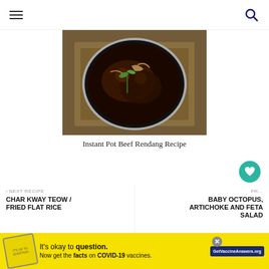Navigation header with hamburger menu and search icon
[Figure (photo): A dark bowl of Instant Pot Beef Rendang with herbs, placed on burlap fabric, photographed from above]
Instant Pot Beef Rendang Recipe
WHAT'S NEXT → Pulut Udang/ Charred...
‹ NEXT RECIPE
CHAR KWAY TEOW / FRIED FLAT RICE
PR... BABY OCTOPUS, ARTICHOKE AND FETA SALAD
It's okay to question. Now get the facts on COVID-19 vaccines. GetVaccineAnswers.org